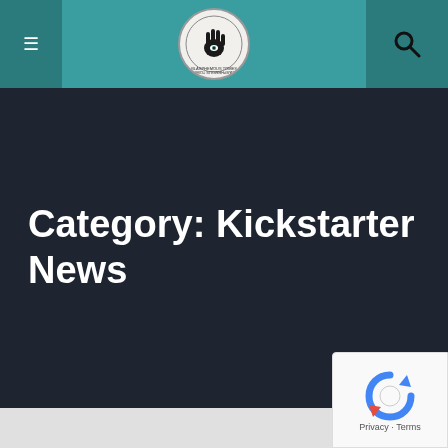Blasphemous Tomes — navigation header with hamburger menu, logo, and search icon
Category: Kickstarter News
[Figure (logo): Blasphemous Tomes circular logo with hand and text]
Privacy · Terms